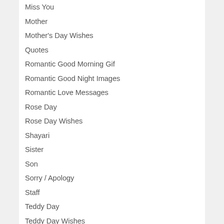Miss You
Mother
Mother's Day Wishes
Quotes
Romantic Good Morning Gif
Romantic Good Night Images
Romantic Love Messages
Rose Day
Rose Day Wishes
Shayari
Sister
Son
Sorry / Apology
Staff
Teddy Day
Teddy Day Wishes
Thank You Messages for Gifts
Thankyou Messages
Valentine's Day